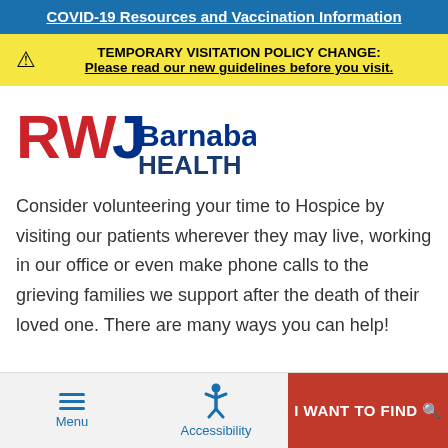COVID-19 Resources and Vaccination Information
TEMPORARY VISITATION POLICY CHANGE: Please read our new guidelines before you visit.
[Figure (logo): RWJBarnabas Health logo with RWJ in red and blue, Barnabas in blue, and HEALTH in dark blue below]
Consider volunteering your time to Hospice by visiting our patients wherever they may live, working in our office or even make phone calls to the grieving families we support after the death of their loved one. There are many ways you can help!
Menu | Accessibility | I WANT TO FIND